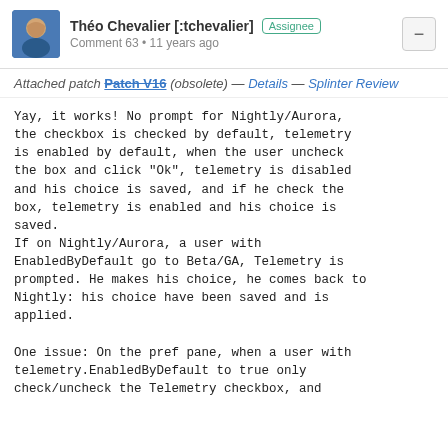Théo Chevalier [:tchevalier] Assignee
Comment 63 • 11 years ago
Attached patch Patch V16 (obsolete) — Details — Splinter Review
Yay, it works! No prompt for Nightly/Aurora, the checkbox is checked by default, telemetry is enabled by default, when the user uncheck the box and click "Ok", telemetry is disabled and his choice is saved, and if he check the box, telemetry is enabled and his choice is saved.
If on Nightly/Aurora, a user with EnabledByDefault go to Beta/GA, Telemetry is prompted. He makes his choice, he comes back to Nightly: his choice have been saved and is applied.

One issue: On the pref pane, when a user with telemetry.EnabledByDefault to true only check/uncheck the Telemetry checkbox, and